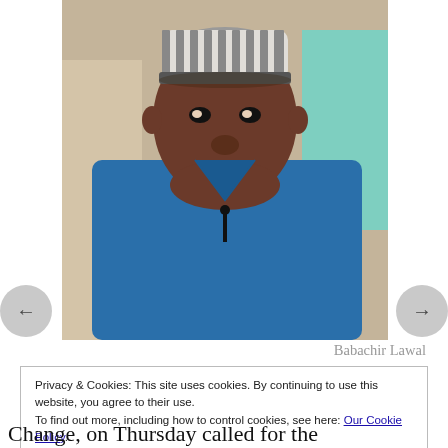[Figure (photo): Portrait photo of Babachir Lawal, a man wearing a blue Nigerian traditional outfit and a striped fula cap, smiling, with other people visible in the background]
Babachir Lawal
Privacy & Cookies: This site uses cookies. By continuing to use this website, you agree to their use.
To find out more, including how to control cookies, see here: Our Cookie Policy
Close and accept
Change, on Thursday called for the